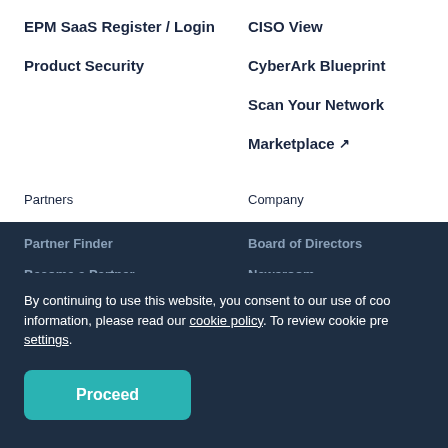EPM SaaS Register / Login
CISO View
Product Security
CyberArk Blueprint
Scan Your Network
Marketplace ↗
Partners
Company
Partner Network
Investor Relations
Partner Community ↗
Leadership
Partner Finder
Board of Directors
Become a Partner
Newsroom
Alliance Partner
Office Locations
Environmental, Social and Governance
By continuing to use this website, you consent to our use of cookies. For more information, please read our cookie policy. To review cookie preferences, click settings.
Proceed